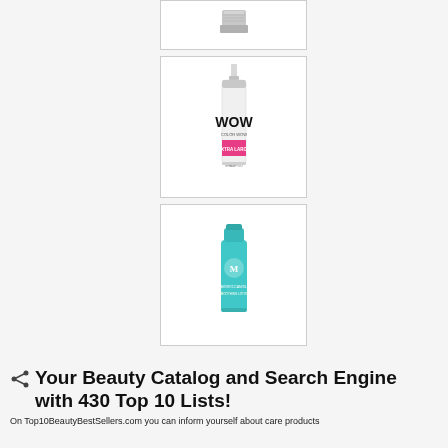[Figure (photo): Top product box - partially visible product (appears to be a small metal/silver container) on white background with border]
[Figure (photo): WOW Color Wow Extra Large Bombshell Shampoo white bottle with pink accent label on white background with border]
[Figure (photo): Moroccanoil teal/turquoise tube product on white background with border]
Your Beauty Catalog and Search Engine with 430 Top 10 Lists!
On Top10BeautyBestSellers.com you can inform yourself about care products